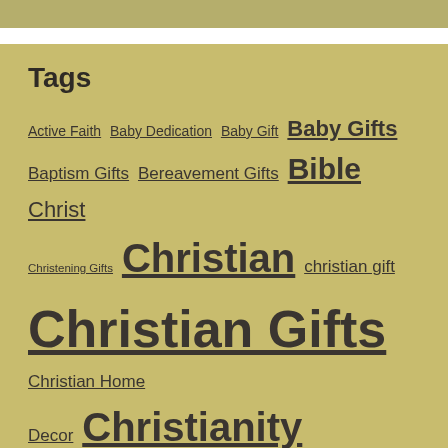Tags
Active Faith Baby Dedication Baby Gift Baby Gifts Baptism Gifts Bereavement Gifts Bible Christ Christening Gifts Christian christian gift Christian Gifts Christian Home Decor Christianity Christian Jewelry Christian Living christian wall art Christmas Christmas Gifts christmas ornaments Confirmation Confirmation Gifts Confirmation